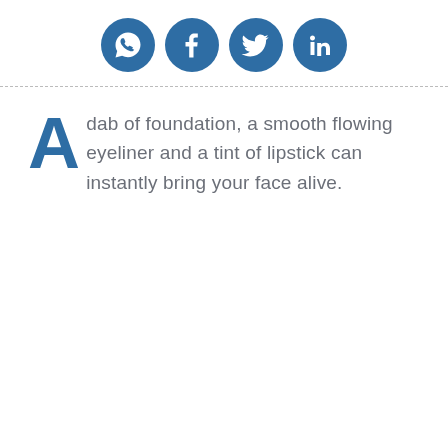[Figure (infographic): Four social media sharing icons (WhatsApp, Facebook, Twitter, LinkedIn) as white symbols on blue circles, centered horizontally near the top of the page.]
A dab of foundation, a smooth flowing eyeliner and a tint of lipstick can instantly bring your face alive.